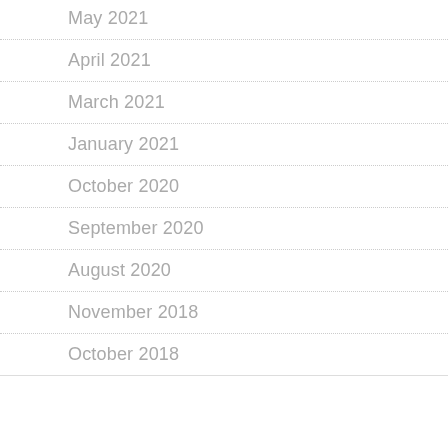May 2021
April 2021
March 2021
January 2021
October 2020
September 2020
August 2020
November 2018
October 2018